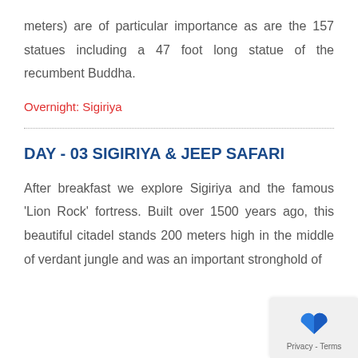meters) are of particular importance as are the 157 statues including a 47 foot long statue of the recumbent Buddha.
Overnight: Sigiriya
DAY - 03 SIGIRIYA & JEEP SAFARI
After breakfast we explore Sigiriya and the famous 'Lion Rock' fortress. Built over 1500 years ago, this beautiful citadel stands 200 meters high in the middle of verdant jungle and was an important stronghold of